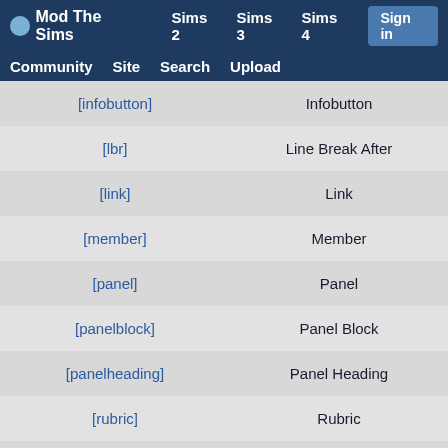Mod The Sims | Sims 2 | Sims 3 | Sims 4 | Sign in | Community | Site | Search | Upload
| Tag | Description |
| --- | --- |
| [infobutton] | Infobutton |
| [lbr] | Line Break After |
| [link] | Link |
| [member] | Member |
| [panel] | Panel |
| [panelblock] | Panel Block |
| [panelheading] | Panel Heading |
| [rubric] | Rubric |
| [s] | Strikethrough |
| [small] | Small font |
| [spoiler] | Spoiler |
| [spoiler] | Spoiler with title |